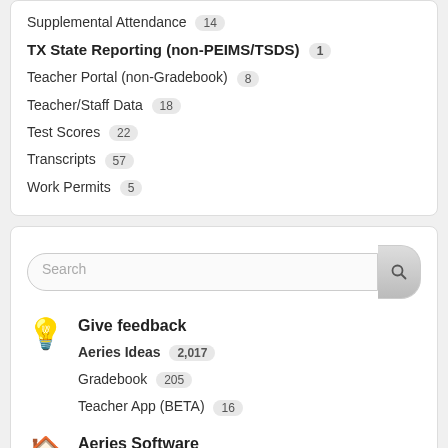Supplemental Attendance 14
TX State Reporting (non-PEIMS/TSDS) 1
Teacher Portal (non-Gradebook) 8
Teacher/Staff Data 18
Test Scores 22
Transcripts 57
Work Permits 5
Search
Give feedback
Aeries Ideas 2,017
Gradebook 205
Teacher App (BETA) 16
Aeries Software